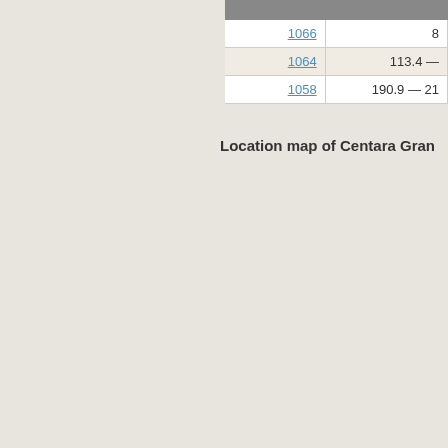|  |  |
| --- | --- |
| 1066 | 8 |
| 1064 | 113.4 — |
| 1058 | 190.9 — 21 |
Location map of Centara Gran